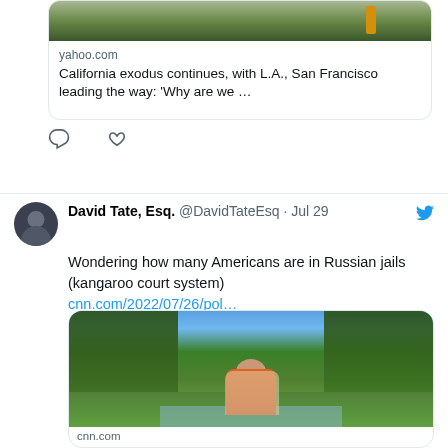[Figure (screenshot): Twitter link card showing yahoo.com article: California exodus continues, with L.A., San Francisco leading the way: 'Why are we ...' with a thumbnail image]
[Figure (screenshot): Twitter interaction icons: comment bubble and heart/like icons]
David Tate, Esq. @DavidTateEsq · Jul 29 — Wondering how many Americans are in Russian jails (kangaroo court system) cnn.com/2022/07/26/pol...
[Figure (photo): CNN link card with a photo of a smiling man wearing sunglasses, a cap, and orange vest outdoors near trees and a creek. Domain: cnn.com shown at bottom.]